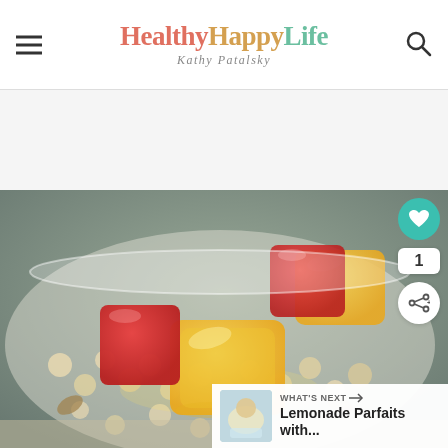HealthyHappyLife — Kathy Patalsky
[Figure (photo): Bowl of fruit salad with strawberries, mango chunks, chickpeas and nuts in a glass bowl, close-up food photography]
WHAT'S NEXT →
Lemonade Parfaits with...